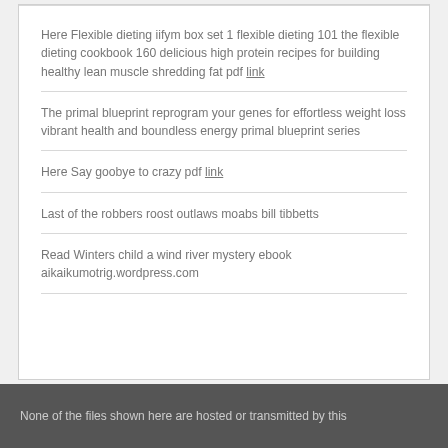Here Flexible dieting iifym box set 1 flexible dieting 101 the flexible dieting cookbook 160 delicious high protein recipes for building healthy lean muscle shredding fat pdf link
The primal blueprint reprogram your genes for effortless weight loss vibrant health and boundless energy primal blueprint series
Here Say goobye to crazy pdf link
Last of the robbers roost outlaws moabs bill tibbetts
Read Winters child a wind river mystery ebook aikaikumotrig.wordpress.com
None of the files shown here are hosted or transmitted by this